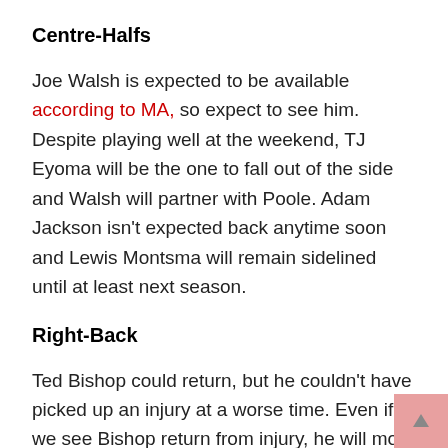Centre-Halfs
Joe Walsh is expected to be available according to MA, so expect to see him. Despite playing well at the weekend, TJ Eyoma will be the one to fall out of the side and Walsh will partner with Poole. Adam Jackson isn't expected back anytime soon and Lewis Montsma will remain sidelined until at least next season.
Right-Back
Ted Bishop could return, but he couldn't have picked up an injury at a worse time. Even if we see Bishop return from injury, he will most likely not be playing his usual right-back position that